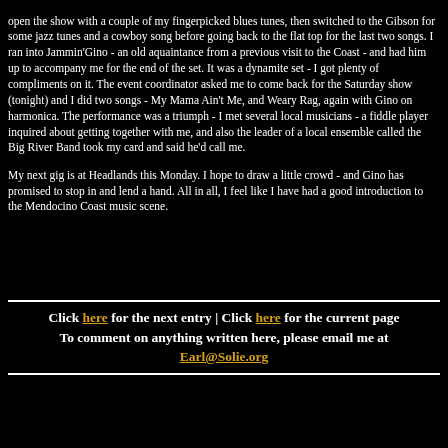open the show with a couple of my fingerpicked blues tunes, then switched to the Gibson for some jazz tunes and a cowboy song before going back to the flat top for the last two songs. I ran into Jammin'Gino - an old aquaintance from a previous visit to the Coast - and had him up to accompany me for the end of the set. It was a dynamite set - I got plenty of compliments on it. The event coordinator asked me to come back for the Saturday show (tonight) and I did two songs - My Mama Ain't Me, and Weary Rag, again with Gino on harmonica. The performance was a triumph - I met several local musicians - a fiddle player inquired about getting together with me, and also the leader of a local ensemble called the Big River Band took my card and said he'd call me.
My next gig is at Headlands this Monday. I hope to draw a little crowd - and Gino has promised to stop in and lend a hand. All in all, I feel like I have had a good introduction to the Mendocino Coast music scene.
Click here for the next entry | Click here for the current page
To comment on anything written here, please email me at Earl@Solie.org